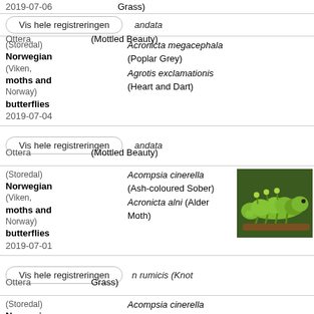2019-07-06  Grass)
Vis hele registreringen  ...andata  Ottera  (Mottled Beauty)
(Storedal)
Norwegian moths and butterflies (Viken, Norway)
2019-07-04  Acronicta megacephala (Poplar Grey)  Agrotis exclamationis (Heart and Dart)
Vis hele registreringen  ...andata  Ottera  (Mottled Beauty)
(Storedal)
Norwegian moths and butterflies (Viken, Norway)
2019-07-01  Acompsia cinerella (Ash-coloured Sober)  Acronicta alni (Alder Moth)
[Figure (photo): Green caterpillar on a branch against a dark green background]
Vis hele registreringen  ...n rumicis (Knot  Ottera  Grass)
(Storedal)
Norwegian moths and butterflies (Viken, Norway)
2019-06-30  Acompsia cinerella (Ash-coloured Sober)  Acronicta psi (Grey Dagger)
Vis hele registreringen  ...n rumicis (Knot